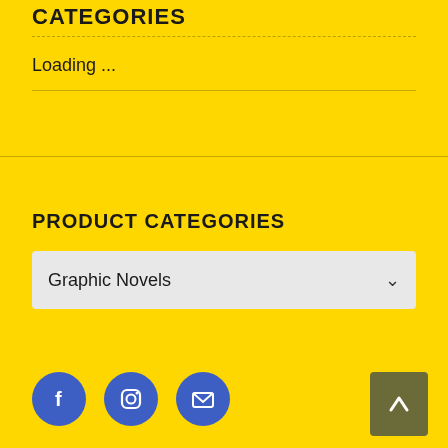CATEGORIES
Loading ...
PRODUCT CATEGORIES
Graphic Novels
[Figure (infographic): Social media icons: Facebook, Instagram, Email buttons (blue circles), and a scroll-to-top button (dark olive square with upward arrow)]